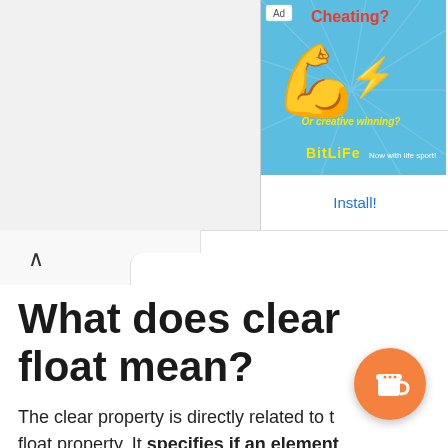[Figure (screenshot): Advertisement banner for BitLife app showing a flexing arm emoji with 'Cheating? Or creative winning?' text on blue background, with BitLife logo icon and Install! link]
What does clear float mean?
The clear property is directly related to the float property. It specifies if an element